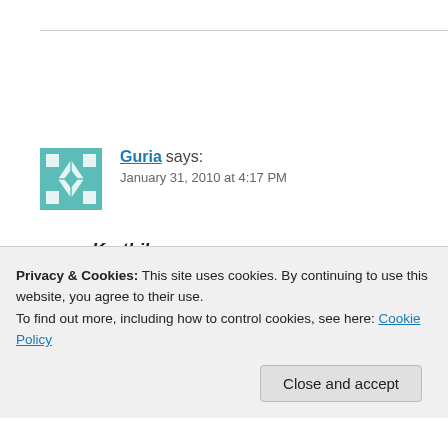Guria says: January 31, 2010 at 4:17 PM
Karthik
Just my little experiment! 😀 I wrote it with dual meaning, one hilarious and the...
Privacy & Cookies: This site uses cookies. By continuing to use this website, you agree to their use. To find out more, including how to control cookies, see here: Cookie Policy
Close and accept